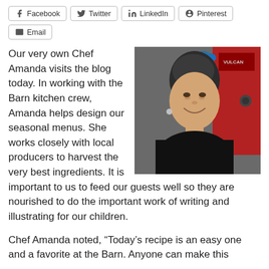Facebook
Twitter
LinkedIn
Pinterest
Email
[Figure (photo): Chef Amanda smiling, wearing a black t-shirt with a blue flower in her hair, standing in a kitchen with a red Vulcan oven in the background.]
Our very own Chef Amanda visits the blog today. In working with the Barn kitchen crew, Amanda helps design our seasonal menus. She works closely with local producers to harvest the very best ingredients. It is important to us to feed our guests well so they are nourished to do the important work of writing and illustrating for our children.
Chef Amanda noted, “Today’s recipe is an easy one and a favorite at the Barn. Anyone can make this